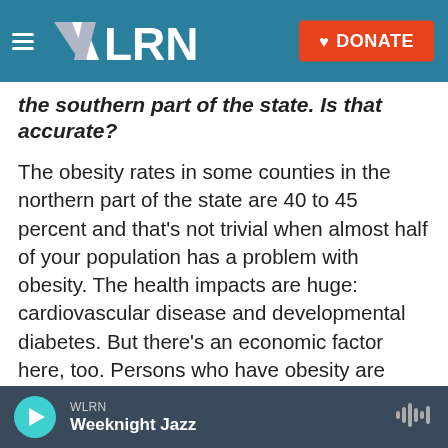WLRN — DONATE
the southern part of the state. Is that accurate?
The obesity rates in some counties in the northern part of the state are 40 to 45 percent and that's not trivial when almost half of your population has a problem with obesity. The health impacts are huge: cardiovascular disease and developmental diabetes. But there's an economic factor here, too. Persons who have obesity are more likely to consume health care and spend money on health care particularly for some of these chronic diseases. It's not just a cosmetic issue here. This is a real economic and healthcare issue for the entire
WLRN — Weeknight Jazz